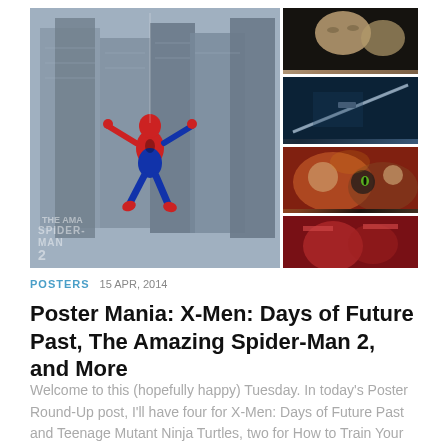[Figure (photo): Collage of movie images: main large image of The Amazing Spider-Man 2 poster showing Spider-Man swinging between buildings from aerial view, with three smaller movie stills on the right side showing X-Men faces, a sword/katana, and How to Train Your Dragon characters, plus a partial fourth image.]
POSTERS  15 APR, 2014
Poster Mania: X-Men: Days of Future Past, The Amazing Spider-Man 2, and More
Welcome to this (hopefully happy) Tuesday. In today's Poster Round-Up post, I'll have four for X-Men: Days of Future Past and Teenage Mutant Ninja Turtles, two for How to Train Your Dragon...